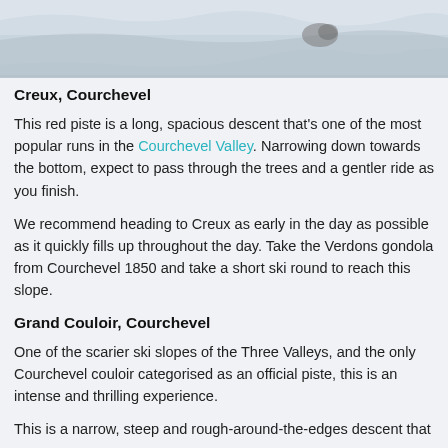[Figure (photo): Snowy mountain ski slope viewed from above, showing a wide snowfield with rocky outcroppings, taken in winter conditions.]
Creux, Courchevel
This red piste is a long, spacious descent that's one of the most popular runs in the Courchevel Valley. Narrowing down towards the bottom, expect to pass through the trees and a gentler ride as you finish.
We recommend heading to Creux as early in the day as possible as it quickly fills up throughout the day. Take the Verdons gondola from Courchevel 1850 and take a short ski round to reach this slope.
Grand Couloir, Courchevel
One of the scarier ski slopes of the Three Valleys, and the only Courchevel couloir categorised as an official piste, this is an intense and thrilling experience.
This is a narrow, steep and rough-around-the-edges descent that can be accessed from the Saulire lift from both the Courchevel and Meribel sides.
You'll have to avoid large moguls throughout this run, and you'll need to keep on piste if you want to avoid a nasty tumble. A short but tough couloir, the Grand Couloir is often affected by weather, so check that it's open before you head up!